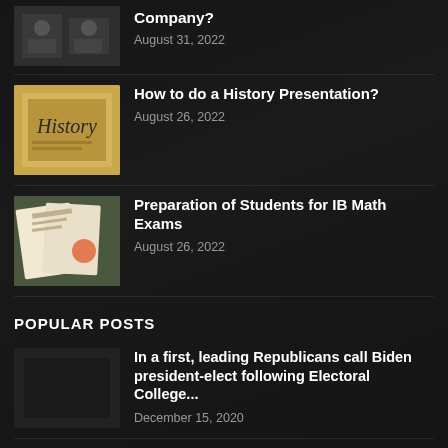[Figure (photo): Partially visible thumbnail image of people at top of page]
Company?
August 31, 2022
[Figure (photo): Thumbnail showing history book/presentation with yellow background]
How to do a History Presentation?
August 26, 2022
[Figure (photo): Thumbnail showing math exam materials and papers]
Preparation of Students for IB Math Exams
August 26, 2022
POPULAR POSTS
In a first, leading Republicans call Biden president-elect following Electoral College...
December 15, 2020
Best Budget Monitor For Graphic Design & Video Editing...